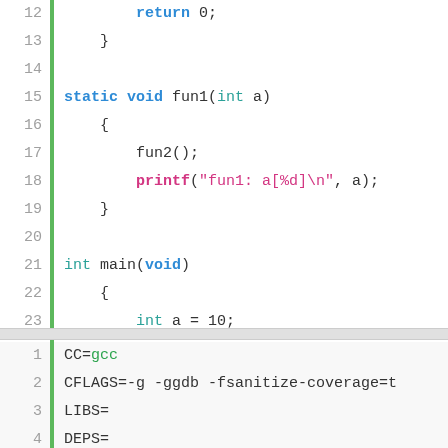Code block 1 (lines 12-26): C source file with static void fun1 and int main functions
Code block 2 (lines 1-10): Makefile with CC=gcc, CFLAGS, LIBS, DEPS, OBJ, build rules